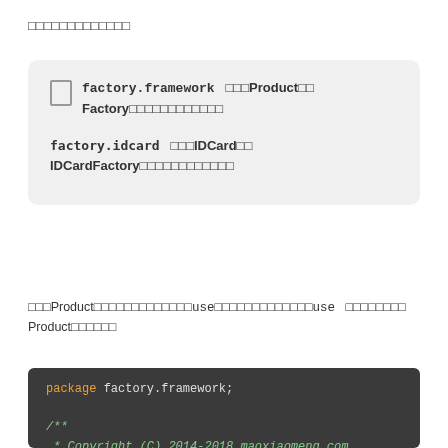□□□□□□□□□□□□□
| □  factory.framework | □□□Product□□Factory□□□□□□□□□□□□ |
| factory.idcard | □□□IDCard□□IDCardFactory□□□□□□□□□□□□ |
□□□Product□□□□□□□□□□□□□use□□□□□□□□□□□□□use　□□□□□□□Product□□□□□□
[Figure (screenshot): Code block showing: package factory.framework; followed by /** comment block and * Copyright (C) 2014-2018 maoxiaomeng.com]